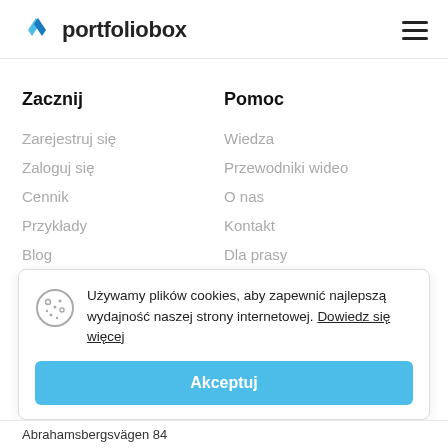portfoliobox
Zacznij
Pomoc
Zarejestruj się
Zaloguj się
Cennik
Przykłady
Blog
Wiedza
Przewodniki wideo
O nas
Kontakt
Dla prasy
Używamy plików cookies, aby zapewnić najlepszą wydajność naszej strony internetowej. Dowiedz się więcej
Akceptuj
Abrahamsbergsvägen 84